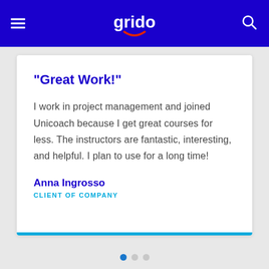grido
“Great Work!”
I work in project management and joined Unicoach because I get great courses for less. The instructors are fantastic, interesting, and helpful. I plan to use for a long time!
Anna Ingrosso
CLIENT OF COMPANY